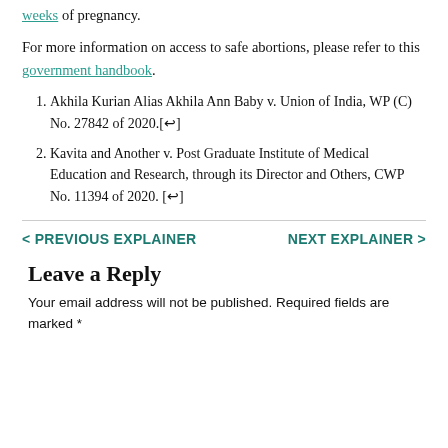weeks of pregnancy.
For more information on access to safe abortions, please refer to this government handbook.
Akhila Kurian Alias Akhila Ann Baby v. Union of India, WP (C) No. 27842 of 2020.[↩]
Kavita and Another v. Post Graduate Institute of Medical Education and Research, through its Director and Others, CWP No. 11394 of 2020. [↩]
< PREVIOUS EXPLAINER    NEXT EXPLAINER >
Leave a Reply
Your email address will not be published. Required fields are marked *